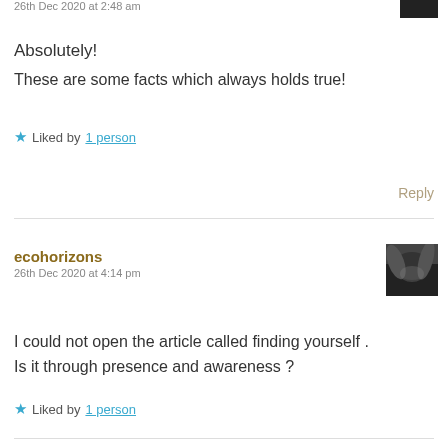26th Dec 2020 at 2:48 am
Absolutely!
These are some facts which always holds true!
★ Liked by 1 person
Reply
ecohorizons
26th Dec 2020 at 4:14 pm
I could not open the article called finding yourself .
Is it through presence and awareness ?
★ Liked by 1 person